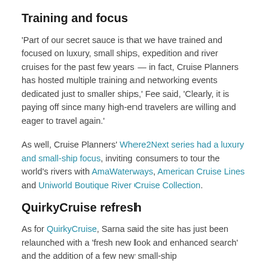Training and focus
'Part of our secret sauce is that we have trained and focused on luxury, small ships, expedition and river cruises for the past few years — in fact, Cruise Planners has hosted multiple training and networking events dedicated just to smaller ships,' Fee said, 'Clearly, it is paying off since many high-end travelers are willing and eager to travel again.'
As well, Cruise Planners' Where2Next series had a luxury and small-ship focus, inviting consumers to tour the world's rivers with AmaWaterways, American Cruise Lines and Uniworld Boutique River Cruise Collection.
QuirkyCruise refresh
As for QuirkyCruise, Sarna said the site has just been relaunched with a 'fresh new look and enhanced search' and the addition of a few new small-ship